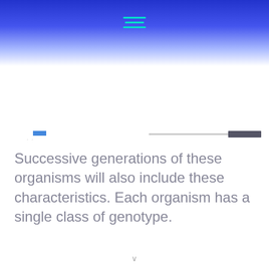[Figure (other): Blue gradient header bar with teal hamburger menu icon centered at top]
Navigation bar with blue rectangle, gray line, and dark rectangle UI elements
Successive generations of these organisms will also include these characteristics. Each organism has a single class of genotype.